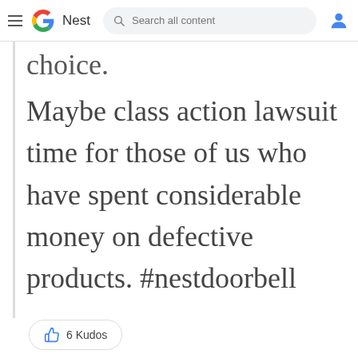Google Nest — Search all content
choice.
Maybe class action lawsuit time for those of us who have spent considerable money on defective products.  #nestdoorbell
6 Kudos